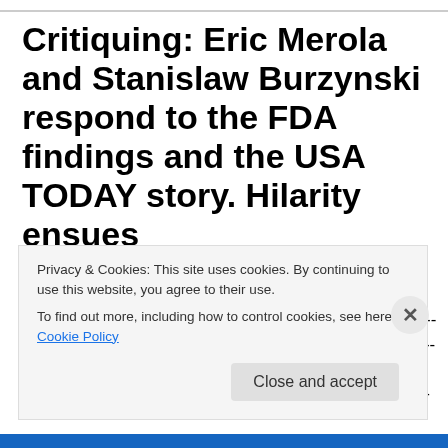Critiquing: Eric Merola and Stanislaw Burzynski respond to the FDA findings and the USA TODAY story. Hilarity ensues
GorskiGeek starts off his soapbox stump speech: -------------------------------------------------------------------- "I was very pleased last Friday, very pleased indeed" ----------------------------
Privacy & Cookies: This site uses cookies. By continuing to use this website, you agree to their use.
To find out more, including how to control cookies, see here: Cookie Policy